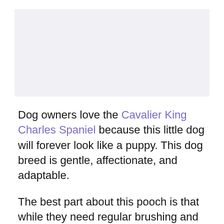[Figure (photo): Image placeholder area showing a dog photo (Cavalier King Charles Spaniel)]
Dog owners love the Cavalier King Charles Spaniel because this little dog will forever look like a puppy. This dog breed is gentle, affectionate, and adaptable.
The best part about this pooch is that while they need regular brushing and trips to the groomers, they are hypoallergenic because they're low